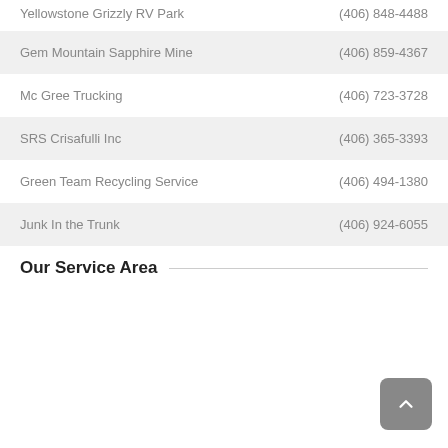Yellowstone Grizzly RV Park	(406) 848-4488
Gem Mountain Sapphire Mine	(406) 859-4367
Mc Gree Trucking	(406) 723-3728
SRS Crisafulli Inc	(406) 365-3393
Green Team Recycling Service	(406) 494-1380
Junk In the Trunk	(406) 924-6055
Our Service Area